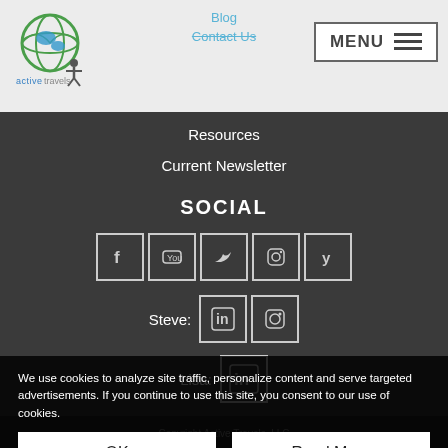[Figure (logo): Active Travels logo with globe and person icon]
Blog  Contact Us
[Figure (other): MENU button with hamburger icon]
Resources
Current Newsletter
SOCIAL
[Figure (infographic): Social media icons row: Facebook, YouTube, Twitter, Instagram, Yelp]
Steve:
[Figure (infographic): Steve social icons: LinkedIn, Instagram]
Lisa:
[Figure (infographic): Lisa social icon: LinkedIn]
We use cookies to analyze site traffic, personalize content and serve targeted advertisements. If you continue to use this site, you consent to our use of cookies.
Copyright Active Travels, LLC